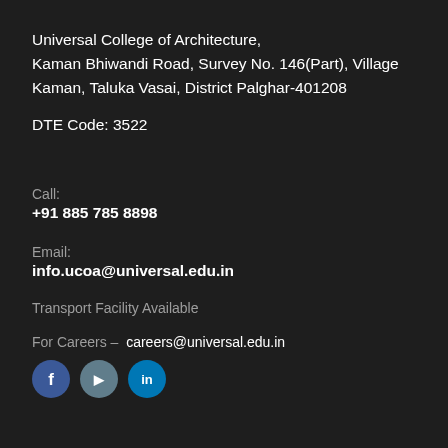Universal College of Architecture, Kaman Bhiwandi Road, Survey No. 146(Part), Village Kaman, Taluka Vasai, District Palghar-401208
DTE Code: 3522
Call:
+91 885 785 8898
Email:
info.ucoa@universal.edu.in
Transport Facility Available
For Careers – careers@universal.edu.in
[Figure (illustration): Three social media icons: Facebook (blue circle with f), Twitter/social (grey-blue circle with icon), LinkedIn (blue circle with icon)]